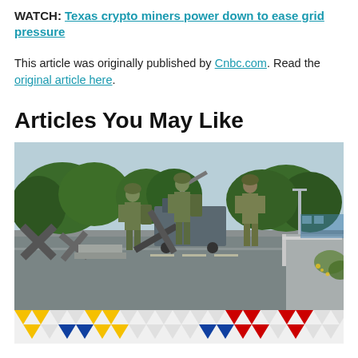WATCH: Texas crypto miners power down to ease grid pressure
This article was originally published by Cnbc.com. Read the original article here.
Articles You May Like
[Figure (photo): Soldiers in military fatigues and helmets handling metal anti-tank obstacles (dragon's teeth) on a road. A truck with a crane arm is visible in the background, along with trees and a street lamp.]
[Figure (illustration): Decorative banner with colorful triangles in yellow, red, blue, and white/gray arranged in a zigzag pattern.]